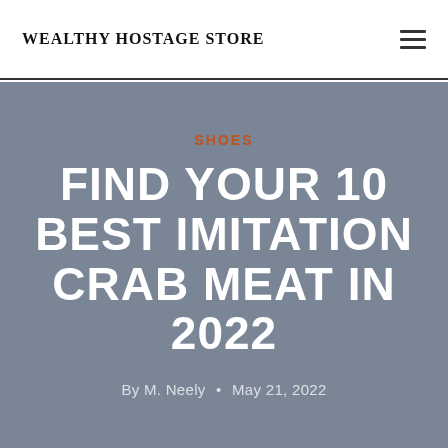WEALTHY HOSTAGE STORE
SHOES
FIND YOUR 10 BEST IMITATION CRAB MEAT IN 2022
By M. Neely • May 21, 2022